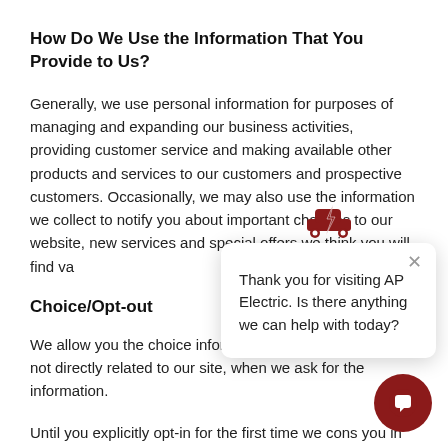How Do We Use the Information That You Provide to Us?
Generally, we use personal information for purposes of managing and expanding our business activities, providing customer service and making available other products and services to our customers and prospective customers. Occasionally, we may also use the information we collect to notify you about important changes to our website, new services and special offers we think you will find va[lue in].
Choice/Opt-out
We allow you the choice [to limit the use of your] information used for purposes not directly related to our site, when we ask for the information.
Until you explicitly opt-in for the first time we cons[ider] you in the opt-out category. We always notify our
[Figure (screenshot): Chat popup from AP Electric with logo icon, close button (×), and message: 'Thank you for visiting AP Electric. Is there anything we can help with today?' with a dark red chat bubble button in the bottom right corner.]